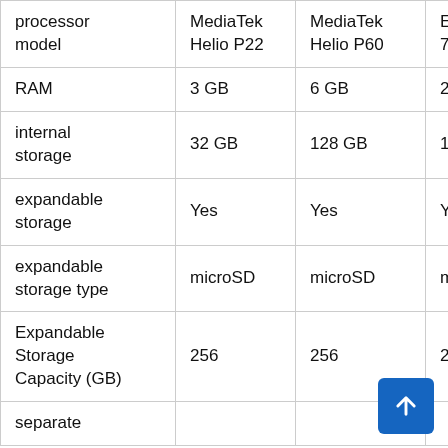| processor model | MediaTek Helio P22 | MediaTek Helio P60 | Exynos 7570 | … |
| --- | --- | --- | --- | --- |
| RAM | 3 GB | 6 GB | 2 GB | … |
| internal storage | 32 GB | 128 GB | 16 GB | … |
| expandable storage | Yes | Yes | Yes | … |
| expandable storage type | microSD | microSD | microSD | … |
| Expandable Storage Capacity (GB) | 256 | 256 | 256 | … |
| separate |  |  |  | … |